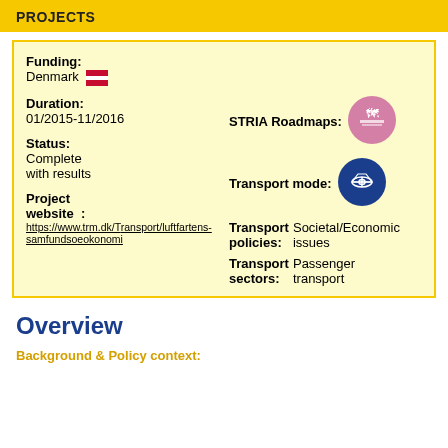PROJECTS
Funding: Denmark
Duration: 01/2015-11/2016
STRIA Roadmaps:
Status: Complete with results
Transport mode:
Project website : https://www.trm.dk/Transport/luftfartens-samfundsoekonomiske
Transport policies: Societal/Economic issues
Transport sectors: Passenger transport
Overview
Background & Policy context: